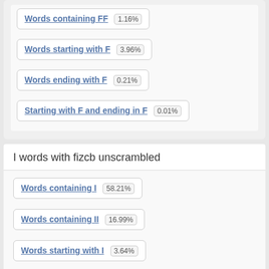Words containing FF 1.16%
Words starting with F 3.96%
Words ending with F 0.21%
Starting with F and ending in F 0.01%
I words with fizcb unscrambled
Words containing I 58.21%
Words containing II 16.99%
Words starting with I 3.64%
Words ending with I 0.50%